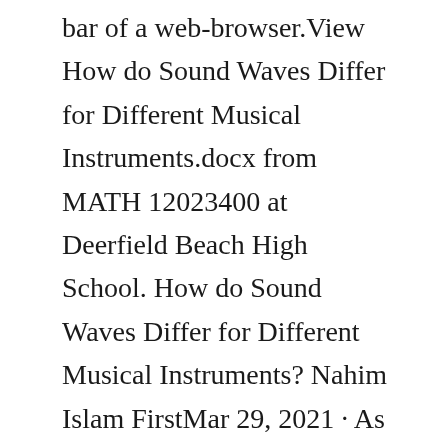bar of a web-browser.View How do Sound Waves Differ for Different Musical Instruments.docx from MATH 12023400 at Deerfield Beach High School. How do Sound Waves Differ for Different Musical Instruments? Nahim Islam FirstMar 29, 2021 · As mentioned, oscilloscope bandwidth has greatly increased, up to 100 GHz. Another obvious difference is that the digital oscilloscope can handle more than one channel. Digital oscilloscopes generally